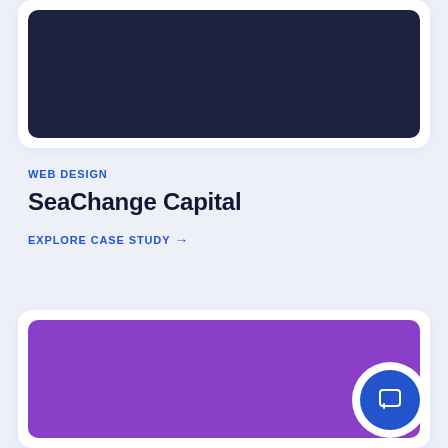[Figure (screenshot): Dark navy blue rounded rectangle representing a website screenshot placeholder inside a white card]
WEB DESIGN
SeaChange Capital
EXPLORE CASE STUDY →
[Figure (screenshot): Purple rounded rectangle representing a website screenshot placeholder inside a white card, with a blue circular chat button overlay in the lower right]